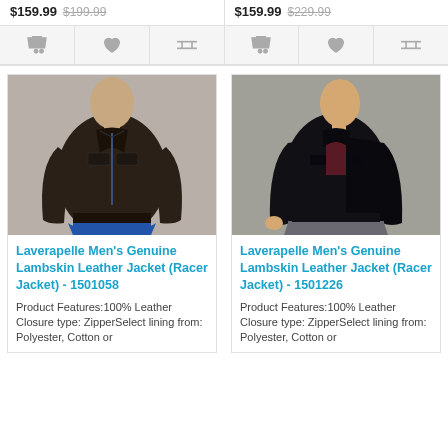$159.99  $199.99
$159.99  $229.99
[Figure (illustration): Man wearing dark brown lambskin leather racer jacket with blue jeans]
[Figure (illustration): Man wearing black lambskin leather racer jacket with dark shirt and grey jeans]
Laverapelle Men's Genuine Lambskin Leather Jacket (Racer Jacket) - 1501058
Laverapelle Men's Genuine Lambskin Leather Jacket (Racer Jacket) - 1501226
Product Features:100% Leather Closure type: ZipperSelect lining from: Polyester, Cotton or
Product Features:100% Leather Closure type: ZipperSelect lining from: Polyester, Cotton or